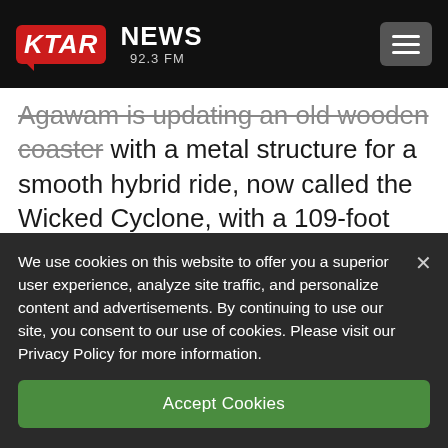KTAR NEWS 92.3 FM
Agawam is updating an old wooden coaster with a metal structure for a smooth hybrid ride, now called the Wicked Cyclone, with a 109-foot (33-meter) hill, two zero-G rolls and top speeds of 55 mph (88 kilometers per hour).
We use cookies on this website to offer you a superior user experience, analyze site traffic, and personalize content and advertisements. By continuing to use our site, you consent to our use of cookies. Please visit our Privacy Policy for more information.
Accept Cookies